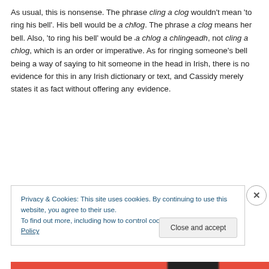As usual, this is nonsense. The phrase cling a clog wouldn't mean 'to ring his bell'. His bell would be a chlog. The phrase a clog means her bell. Also, 'to ring his bell' would be a chlog a chlingeadh, not cling a chlog, which is an order or imperative. As for ringing someone's bell being a way of saying to hit someone in the head in Irish, there is no evidence for this in any Irish dictionary or text, and Cassidy merely states it as fact without offering any evidence.
Privacy & Cookies: This site uses cookies. By continuing to use this website, you agree to their use.
To find out more, including how to control cookies, see here: Cookie Policy